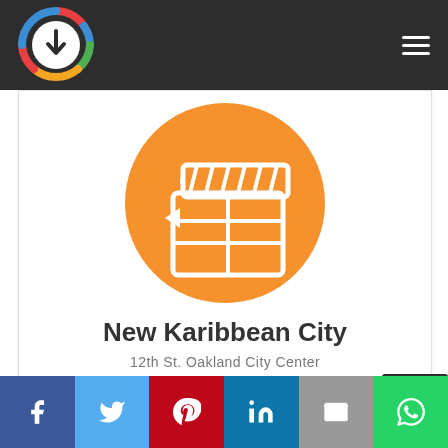Site header with logo and navigation menu
[Figure (illustration): Orange circle with white film clapperboard icon]
New Karibbean City
12th St. Oakland City Center
[Figure (infographic): Social sharing bar with Facebook, Twitter, Pinterest, LinkedIn, Email, and WhatsApp buttons]